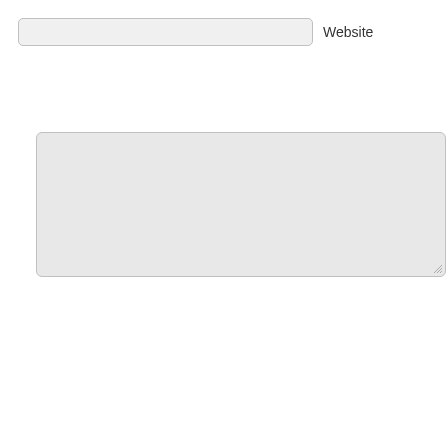Website
[Figure (screenshot): Website URL input field (empty, light gray rounded rectangle) with label 'Website' to its right]
[Figure (screenshot): Large empty textarea/comment input box (light gray rounded rectangle with resize handle)]
[Figure (screenshot): Solve Media CAPTCHA widget with red background. Header reads 'Enter the following:'. Main area shows light blue panel with green italic cursive text reading 'ready, set, go'. Below is 'Your Answer' label on left and 'SOLVE media' logo on right. Answer input field and three icon buttons (refresh, audio, help) at bottom.]
Publish